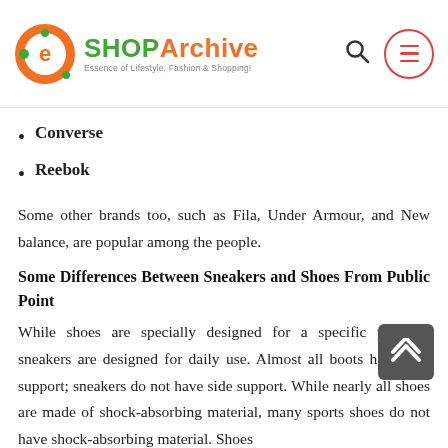SHOP Archive — Essence of Lifestyle, Fashion & Shopping!
Converse
Reebok
Some other brands too, such as Fila, Under Armour, and New balance, are popular among the people.
Some Differences Between Sneakers and Shoes From Public Point
While shoes are specially designed for a specific purpose, sneakers are designed for daily use. Almost all boots have side support; sneakers do not have side support. While nearly all shoes are made of shock-absorbing material, many sports shoes do not have shock-absorbing material. Shoes